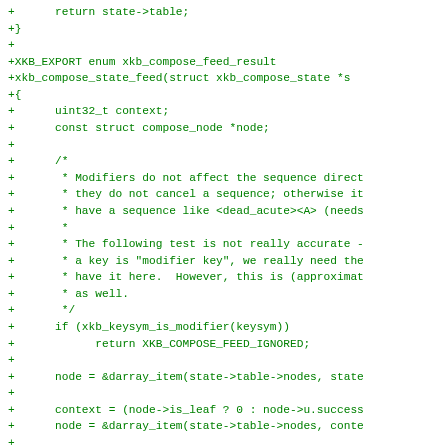[Figure (screenshot): Code diff snippet in green monospace font showing C source code additions for xkb_compose_state_feed function, including variable declarations, comments about modifier keys, and logic for traversing compose nodes.]